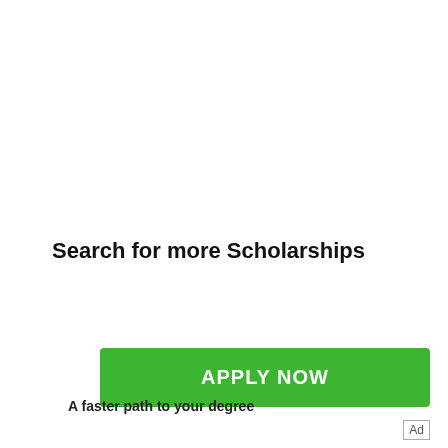Search for more Scholarships
[Figure (other): Green APPLY NOW button advertisement with ad controls (forward/close icons)]
A faster path to your degree
Ad